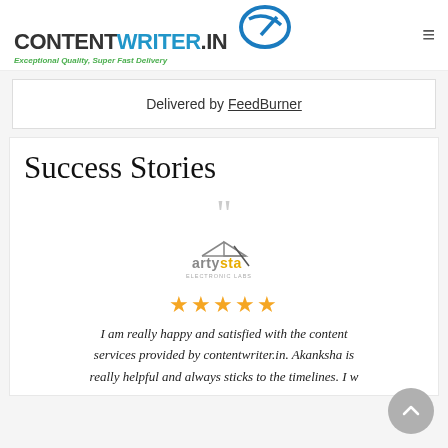CONTENTWRITER.IN — Exceptional Quality, Super Fast Delivery
Delivered by FeedBurner
Success Stories
[Figure (logo): Artysta Electronic Labs logo]
★★★★★ I am really happy and satisfied with the content services provided by contentwriter.in. Akanksha is really helpful and always sticks to the timelines. I w